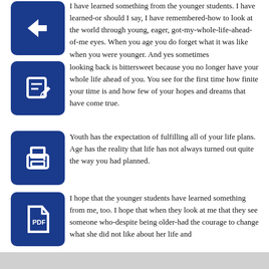I have learned something from the younger students. I have learned-or should I say, I have remembered-how to look at the world through young, eager, got-my-whole-life-ahead-of-me eyes. When you age you do forget what it was like when you were younger. And yes sometimes looking back is bittersweet because you no longer have your whole life ahead of you. You see for the first time how finite your time is and how few of your hopes and dreams that have come true.
Youth has the expectation of fulfilling all of your life plans. Age has the reality that life has not always turned out quite the way you had planned.
I hope that the younger students have learned something from me, too. I hope that when they look at me that they see someone who-despite being older-had the courage to change what she did not like about her life and took action to change it. And I hope that lesson will stay with them when they come to a time in their lives when they are middle-aged and not happy with how their lives are going. And I hope they find the courage to change what they don't like about their lives.
Will I always be so positive about growing older? I don't know. Come ask me in 10 years when I turn 51.